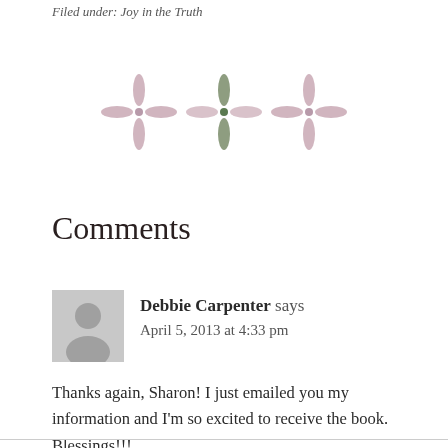Filed under: Joy in the Truth
[Figure (illustration): Three decorative floral/cross ornament dividers in muted pink and olive green]
Comments
Debbie Carpenter says
April 5, 2013 at 4:33 pm
Thanks again, Sharon! I just emailed you my information and I'm so excited to receive the book. Blessings!!!
Reply